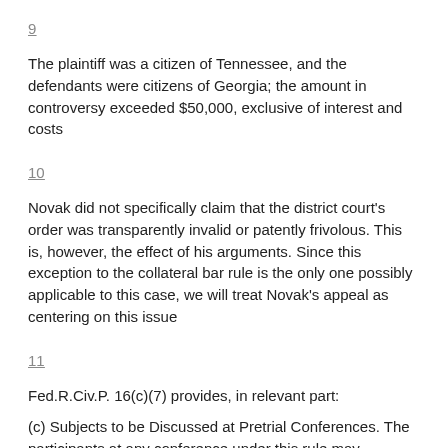9
The plaintiff was a citizen of Tennessee, and the defendants were citizens of Georgia; the amount in controversy exceeded $50,000, exclusive of interest and costs
10
Novak did not specifically claim that the district court’s order was transparently invalid or patently frivolous. This is, however, the effect of his arguments. Since this exception to the collateral bar rule is the only one possibly applicable to this case, we will treat Novak’s appeal as centering on this issue
11
Fed.R.Civ.P. 16(c)(7) provides, in relevant part:
(c) Subjects to be Discussed at Pretrial Conferences. The participants at any conference under this rule may consider and take action with respect to